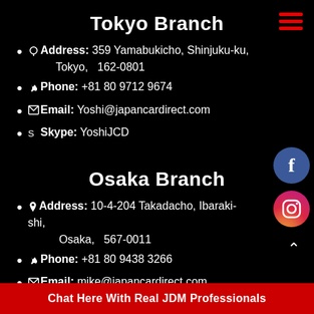Tokyo Branch
Address: 359 Yamabukicho, Shinjuku-ku, Tokyo, 162-0801
Phone: +81 80 9712 9674
Email: Yoshi@japancardirect.com
Skype: YoshiJCD
Osaka Branch
Address: 10-4-204 Takadacho, Ibaraki-shi, Osaka, 567-0011
Phone: +81 80 9438 3266
Email: mike@japancardirect.com
Skype: mike@japancardirect
Chat Here With Real JDM Professionals